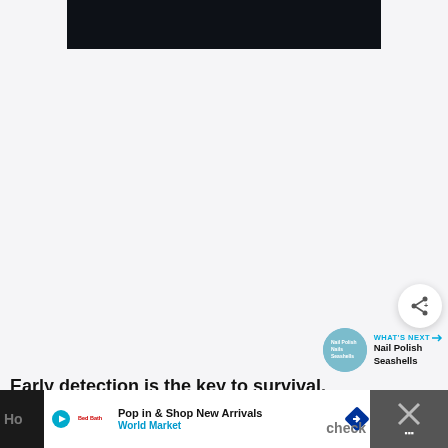[Figure (screenshot): Dark video/media player area at top of page, black/dark navy background]
[Figure (other): Share button (circular white button with share icon) and 'What's Next' recommendation panel showing 'Nail Polish Seashells' with thumbnail]
Early detection is the key to survival.
[Figure (screenshot): Advertisement banner: 'Pop in & Shop New Arrivals - World Market' with play icon, brand logo, and navigation arrow icon. Footer also shows partial text 'Ho...check' and a close/X button area.]